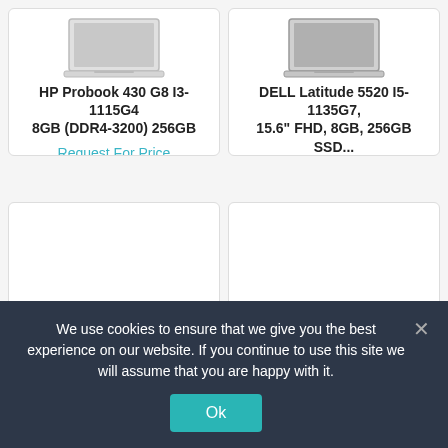[Figure (photo): HP Probook 430 G8 laptop image, top view, silver/white]
HP Probook 430 G8 I3-1115G4 8GB (DDR4-3200) 256GB
Request For Price
[Figure (photo): DELL Latitude 5520 laptop image, top view, dark]
DELL Latitude 5520 I5-1135G7, 15.6" FHD, 8GB, 256GB SSD...
Request For Price
[Figure (photo): Product card image placeholder (blank)]
[Figure (photo): Product card image placeholder (blank)]
We use cookies to ensure that we give you the best experience on our website. If you continue to use this site we will assume that you are happy with it.
Ok